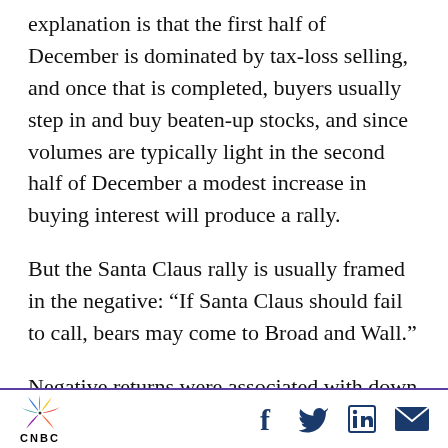explanation is that the first half of December is dominated by tax-loss selling, and once that is completed, buyers usually step in and buy beaten-up stocks, and since volumes are typically light in the second half of December a modest increase in buying interest will produce a rally.
But the Santa Claus rally is usually framed in the negative: “If Santa Claus should fail to call, bears may come to Broad and Wall.”
Negative returns were associated with down years in 2000, 2007 and 2015, though it did not work for 2004 and 2016.
CNBC | social icons: Facebook, Twitter, LinkedIn, Email